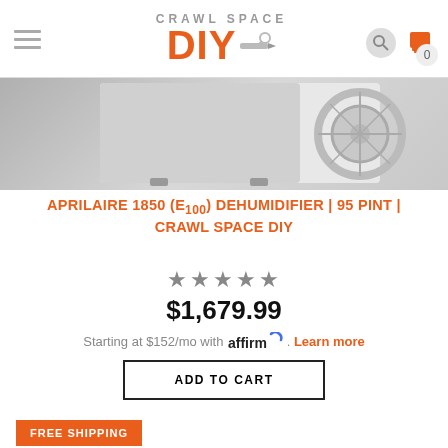CRAWL SPACE DIY — navigation header with logo, search, and cart
[Figure (photo): Partial view of Aprilaire 1850 dehumidifier unit, grey/white background]
APRILAIRE 1850 (E100) DEHUMIDIFIER | 95 PINT | CRAWL SPACE DIY
★★★★★ (star rating)
$1,679.99
Starting at $152/mo with affirm. Learn more
ADD TO CART
FREE SHIPPING